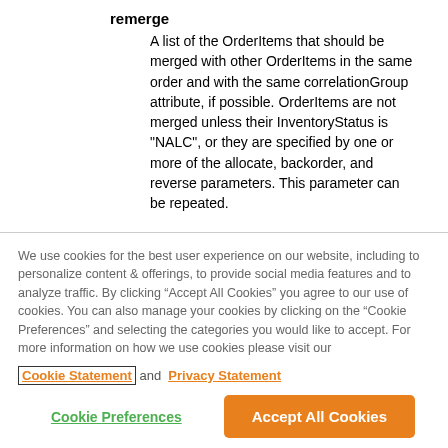remerge
A list of the OrderItems that should be merged with other OrderItems in the same order and with the same correlationGroup attribute, if possible. OrderItems are not merged unless their InventoryStatus is "NALC", or they are specified by one or more of the allocate, backorder, and reverse parameters. This parameter can be repeated.
We use cookies for the best user experience on our website, including to personalize content & offerings, to provide social media features and to analyze traffic. By clicking “Accept All Cookies” you agree to our use of cookies. You can also manage your cookies by clicking on the “Cookie Preferences” and selecting the categories you would like to accept. For more information on how we use cookies please visit our Cookie Statement and Privacy Statement
Cookie Preferences
Accept All Cookies